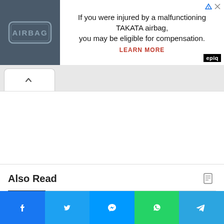[Figure (screenshot): Advertisement banner: airbag photo on left, text 'If you were injured by a malfunctioning TAKATA airbag, you may be eligible for compensation. LEARN MORE' on right with Epiq logo]
[Figure (screenshot): Browser tab bar with one active tab with up-arrow icon]
Also Read
[Figure (screenshot): Social sharing bar at bottom with Facebook, Twitter, Messenger, WhatsApp, and Telegram buttons]